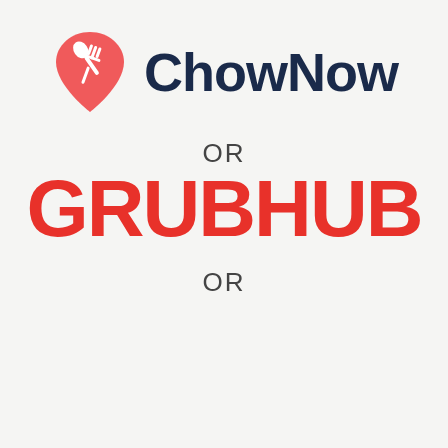[Figure (logo): ChowNow logo: pink/red teardrop-shaped icon with crossed spoon and fork utensils in white, alongside the text 'ChowNow' in dark navy bold font]
OR
[Figure (logo): Grubhub logo: the word 'GRUBHUB' in large bold red uppercase letters]
OR